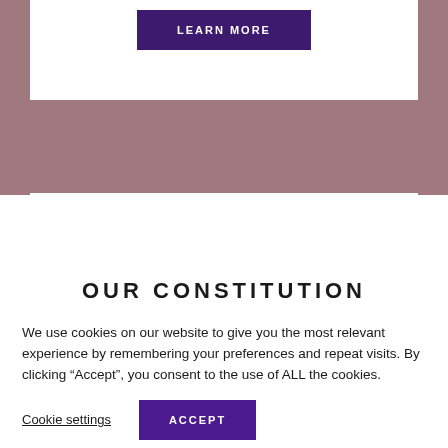[Figure (screenshot): Button labeled LEARN MORE on dark purple background within a white card, on a mauve/dusty rose page background]
OUR CONSTITUTION
[Figure (screenshot): Button labeled LEARN MORE on dark purple background within white card for Our Constitution section]
We use cookies on our website to give you the most relevant experience by remembering your preferences and repeat visits. By clicking “Accept”, you consent to the use of ALL the cookies.
Cookie settings
ACCEPT